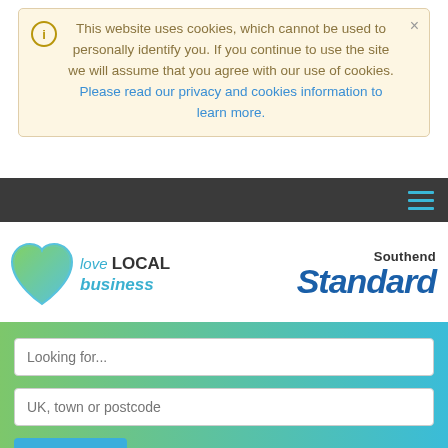This website uses cookies, which cannot be used to personally identify you. If you continue to use the site we will assume that you agree with our use of cookies. Please read our privacy and cookies information to learn more.
[Figure (screenshot): Dark navigation bar with hamburger menu icon (three horizontal blue lines) on the right]
[Figure (logo): Love LOCAL business logo with green/blue heart icon, and Southend Standard logo in bold blue italic text]
[Figure (screenshot): Search form with two input fields: 'Looking for...' and 'UK, town or postcode', and a blue Search button, on a green-to-blue gradient background]